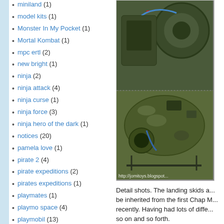miniland (1)
model kits (1)
Monster In My Pocket (1)
Mortal Kombat (1)
mpc ertl (2)
new bright (1)
ninja (2)
ninja attack (4)
ninja curse (1)
ninja force (3)
ninja hero of the dark (1)
notices (20)
pamela love (1)
pirate 2 (4)
pirate expeditions (2)
pirates expeditions (1)
playmates (1)
playmo space (4)
playmobil (13)
playmobil 123 (1)
[Figure (photo): Close-up detail shots of a camouflage-painted toy helicopter, showing landing skids, engine detail, rotors and mechanical parts. Watermark: http://jomitoys.blogspot...]
Detail shots. The landing skids a... be inherited from the first Chap M... recently. Having had lots of diffe... so on and so forth.
[Figure (photo): Partial view of an orange/brown object, likely another toy detail shot.]